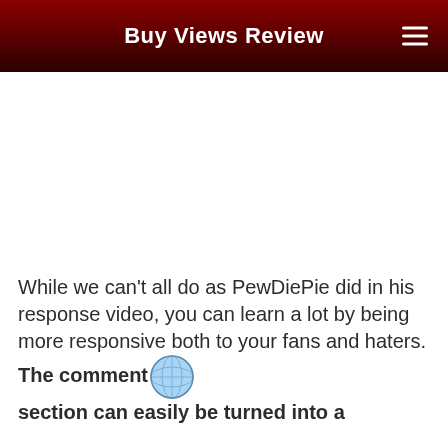Buy Views Review
[Figure (other): Advertisement / empty white space area]
While we can’t all do as PewDiePie did in his response video, you can learn a lot by being more responsive both to your fans and haters. The comment section can easily be turned into a